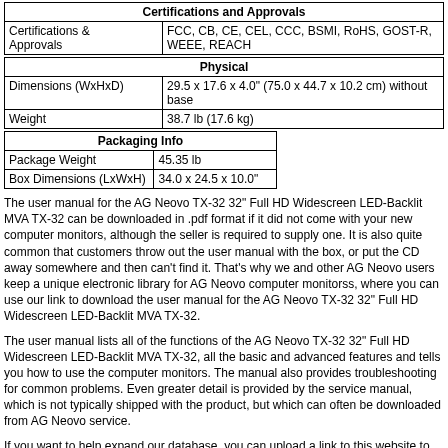| Certifications and Approvals |
| --- |
| Certifications & Approvals | FCC, CB, CE, CEL, CCC, BSMI, RoHS, GOST-R, WEEE, REACH |
| Physical |
| --- |
| Dimensions (WxHxD) | 29.5 x 17.6 x 4.0" (75.0 x 44.7 x 10.2 cm) without base |
| Weight | 38.7 lb (17.6 kg) |
| Packaging Info |
| --- |
| Package Weight | 45.35 lb |
| Box Dimensions (LxWxH) | 34.0 x 24.5 x 10.0" |
The user manual for the AG Neovo TX-32 32" Full HD Widescreen LED-Backlit MVA TX-32 can be downloaded in .pdf format if it did not come with your new computer monitors, although the seller is required to supply one. It is also quite common that customers throw out the user manual with the box, or put the CD away somewhere and then can't find it. That's why we and other AG Neovo users keep a unique electronic library for AG Neovo computer monitorss, where you can use our link to download the user manual for the AG Neovo TX-32 32" Full HD Widescreen LED-Backlit MVA TX-32.
The user manual lists all of the functions of the AG Neovo TX-32 32" Full HD Widescreen LED-Backlit MVA TX-32, all the basic and advanced features and tells you how to use the computer monitors. The manual also provides troubleshooting for common problems. Even greater detail is provided by the service manual, which is not typically shipped with the product, but which can often be downloaded from AG Neovo service.
If you want to help expand our database, you can upload a link to this website to download a user manual or service manual, ideally in .pdf format. These pages are